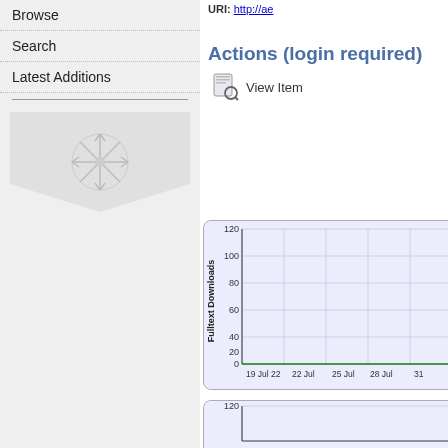Browse
Search
Latest Additions
URI: http://ae...
Actions (login required)
View Item
[Figure (line-chart): Fulltext Downloads]
[Figure (line-chart): Fulltext Downloads]